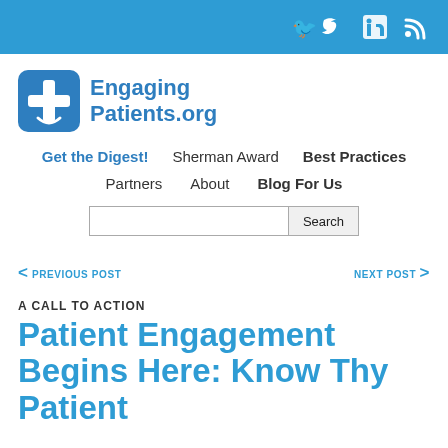Social media icons: Twitter, LinkedIn, RSS
[Figure (logo): EngagingPatients.org logo with blue cross/speech bubble icon and blue bold text]
Get the Digest! | Sherman Award | Best Practices | Partners | About | Blog For Us | Search
< PREVIOUS POST   NEXT POST >
A CALL TO ACTION
Patient Engagement Begins Here: Know Thy Patient